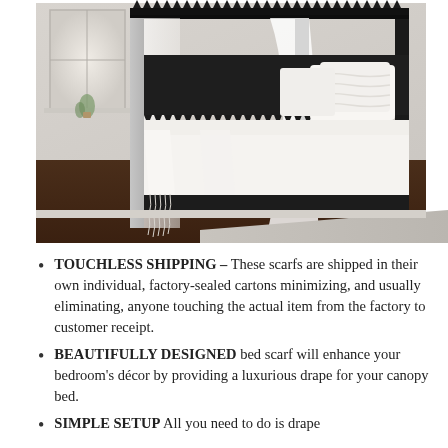[Figure (photo): A black four-poster canopy bed with white sheer curtains draped over the posts, white bedding with decorative fringe/lace edging, white pillows, dark hardwood floor, light gray area rug partially visible in foreground, white walls, window with natural light on the left.]
TOUCHLESS SHIPPING – These scarfs are shipped in their own individual, factory-sealed cartons minimizing, and usually eliminating, anyone touching the actual item from the factory to customer receipt.
BEAUTIFULLY DESIGNED bed scarf will enhance your bedroom's décor by providing a luxurious drape for your canopy bed.
SIMPLE SETUP All you need to do is drape